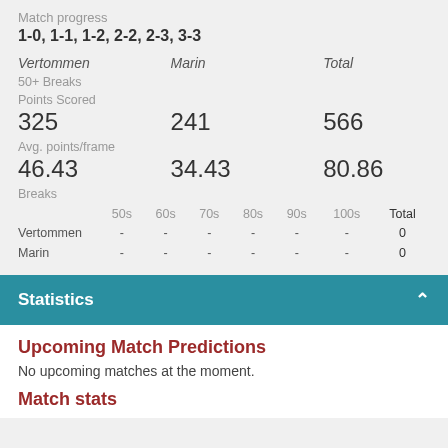Match progress
1-0, 1-1, 1-2, 2-2, 2-3, 3-3
|  | Vertommen | Marin | Total |
| --- | --- | --- | --- |
| 50+ Breaks |  |  |  |
| Points Scored |  |  |  |
|  | 325 | 241 | 566 |
| Avg. points/frame |  |  |  |
|  | 46.43 | 34.43 | 80.86 |
| Breaks |  |  |  |
|  | 50s | 60s | 70s | 80s | 90s | 100s | Total |
| --- | --- | --- | --- | --- | --- | --- | --- |
| Vertommen | - | - | - | - | - | - | 0 |
| Marin | - | - | - | - | - | - | 0 |
Statistics
Upcoming Match Predictions
No upcoming matches at the moment.
Match stats